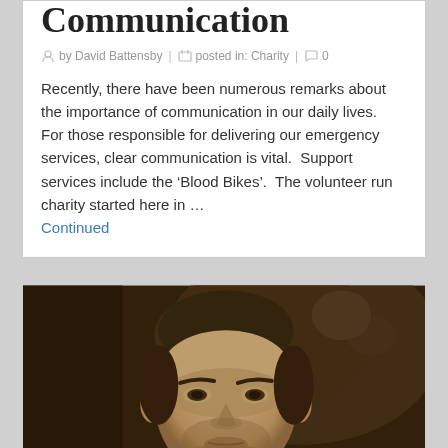Communication
by David Battensby | posted in: Charity | 0
Recently, there have been numerous remarks about the importance of communication in our daily lives.  For those responsible for delivering our emergency services, clear communication is vital.  Support services include the ‘Blood Bikes’.  The volunteer run charity started here in …
Continued
[Figure (photo): Sepia-toned portrait photograph of a man looking directly at the camera, with dark hair and prominent eyebrows]